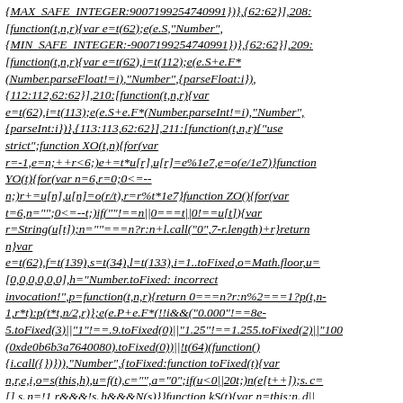{MAX_SAFE_INTEGER:9007199254740991})},{62:62}],208:[function(t,n,r){var e=t(62);e(e.S,"Number",{MIN_SAFE_INTEGER:-9007199254740991})},{62:62}],209:[function(t,n,r){var e=t(62),i=t(112);e(e.S+e.F*(Number.parseFloat!=i),"Number",{parseFloat:i}),{112:112,62:62}],210:[function(t,n,r){var e=t(62),i=t(113);e(e.S+e.F*(Number.parseInt!=i),"Number",{parseInt:i}),{113:113,62:62}],211:[function(t,n,r){"use strict";function XO(t,n){for(var r=-1,e=n;++r<6;)e+=t*u[r],u[r]=e%1e7,e=o(e/1e7)}function YO(t){for(var n=6,r=0;0<=--n;)r+=u[n],u[n]=o(r/t),r=r%t*1e7}function ZO(){for(var t=6,n="";0<=--t;)if(""!==n||0===t||0!==u[t]){var r=String(u[t]);n=""===n?r:n+l.call("0",7-r.length)+r}return n}var e=t(62),f=t(139),s=t(34),l=t(133),i=1..toFixed,o=Math.floor,u=[0,0,0,0,0,0],h="Number.toFixed: incorrect invocation!",p=function(t,n,r){return 0===n?r:n%2===1?p(t,n-1,r*t):p(t*t,n/2,r)};e(e.P+e.F*(!!i&&("0.000"!==8e-5.toFixed(3)||"1"!==.9.toFixed(0)||"1.25"!==1.255.toFixed(2)||"100(0xde0b6b3a7640080).toFixed(0))||!t(64)(function(){i.call({})})),"Number",{toFixed:function toFixed(t){var n,r,e,i,o=s(this,h),u=f(t),c="",a="0";if(u<0||20t;)n(e[t++]);s. c=[],s. n=!1,r&&&!s. h&&&&N(s)}}function kS(t){var n=this;n. d||(n. d=!0,(n=n. w||n). v=t,n. s=2,n. a||